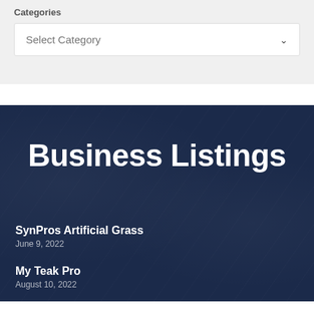Categories
[Figure (screenshot): A dropdown select box with placeholder text 'Select Category' and a down arrow chevron on the right]
Business Listings
SynPros Artificial Grass
June 9, 2022
My Teak Pro
August 10, 2022